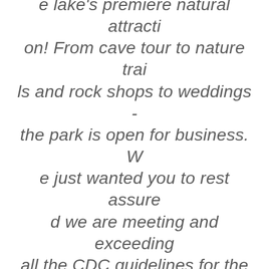Bridal Cave and Thunder Mountain Park. I cannot tell you how happy my staff and I are to announce the reopening of the lake's premiere natural attraction! From cave tour to nature trails and rock shops to weddings - the park is open for business. We just wanted you to rest assured we are meeting and exceeding all the CDC guidelines for the safety of our guests. When you are ready to get back to nature, we'll be ready to show you around. Bridal Cave is open for tours!